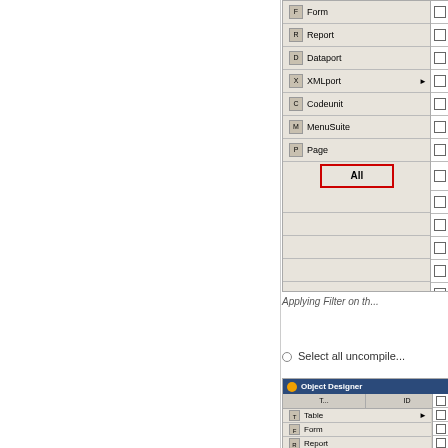[Figure (screenshot): Object Designer window showing menu items: Form, Report, Dataport, XMLport, Codeunit, MenuSuite, Page, and an 'All' button highlighted with a red border. Right side has checkboxes.]
Applying Filter on th...
Select all uncompile...
[Figure (screenshot): Object Designer window showing menu items: Table, Form, Report, Dataport, XMLport, Codeunit with columns and checkboxes on right side.]